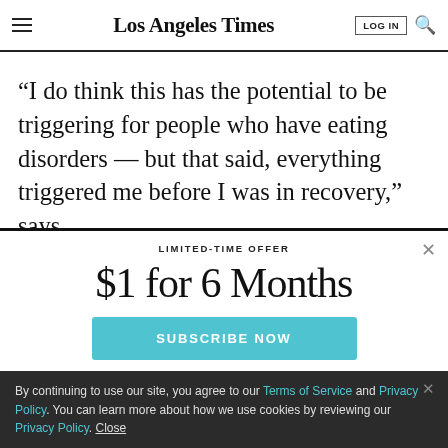Los Angeles Times
“I do think this has the potential to be triggering for people who have eating disorders — but that said, everything triggered me before I was in recovery,” says
LIMITED-TIME OFFER
$1 for 6 Months
SUBSCRIBE NOW
By continuing to use our site, you agree to our Terms of Service and Privacy Policy. You can learn more about how we use cookies by reviewing our Privacy Policy. Close